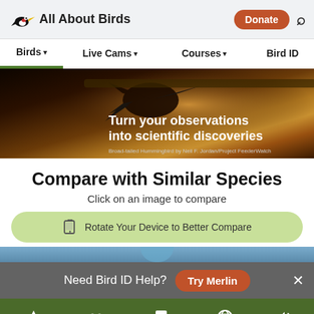All About Birds | Birds ▾  Live Cams ▾  Courses ▾  Bird ID
[Figure (photo): Hummingbird silhouette against warm gradient background with text 'Turn your observations into scientific discoveries'. Credit: Broad-tailed Hummingbird by Neil F. Jordan/Project FeederWatch]
Broad-tailed Hummingbird by Neil F. Jordan/Project FeederWatch
Compare with Similar Species
Click on an image to compare
Rotate Your Device to Better Compare
Need Bird ID Help?  Try Merlin
Overview  ID info  Life History  Maps  Sounds